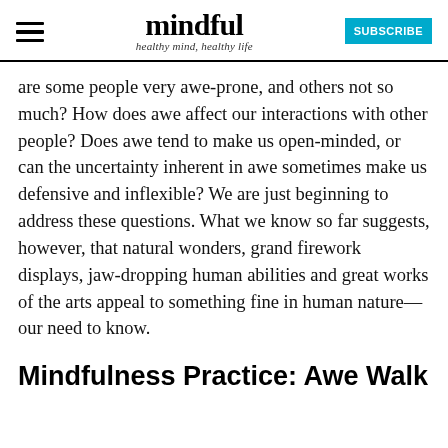mindful — healthy mind, healthy life — SUBSCRIBE
are some people very awe-prone, and others not so much? How does awe affect our interactions with other people? Does awe tend to make us open-minded, or can the uncertainty inherent in awe sometimes make us defensive and inflexible? We are just beginning to address these questions. What we know so far suggests, however, that natural wonders, grand firework displays, jaw-dropping human abilities and great works of the arts appeal to something fine in human nature—our need to know.
Mindfulness Practice: Awe Walk